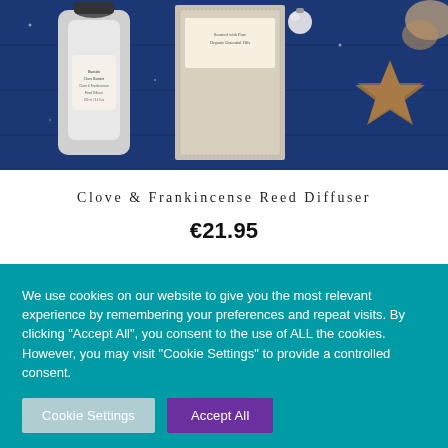[Figure (photo): Product photo showing a Clove & Frankincense Reed Diffuser bottle and box on a blue background with star-shaped Christmas cookies]
Clove & Frankincense Reed Diffuser
€21.95
We use cookies on our website to give you the most relevant experience by remembering your preferences and repeat visits. By clicking "Accept All", you consent to the use of ALL the cookies. However, you may visit "Cookie Settings" to provide a controlled consent.